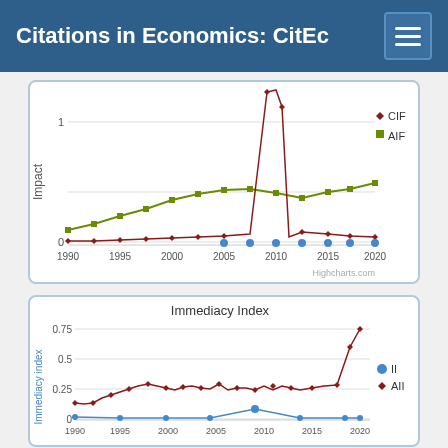Citations in Economics: CitEc
[Figure (line-chart): ]
[Figure (line-chart): Immediacy Index]